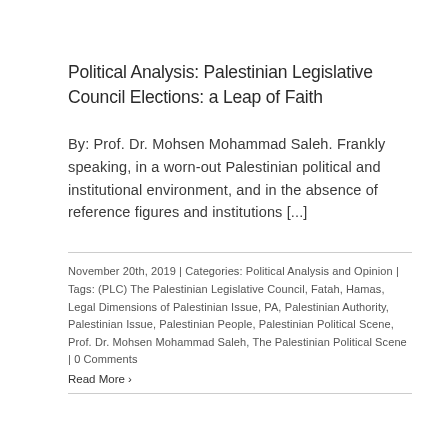Political Analysis: Palestinian Legislative Council Elections: a Leap of Faith
By: Prof. Dr. Mohsen Mohammad Saleh. Frankly speaking, in a worn-out Palestinian political and institutional environment, and in the absence of reference figures and institutions [...]
November 20th, 2019 | Categories: Political Analysis and Opinion | Tags: (PLC) The Palestinian Legislative Council, Fatah, Hamas, Legal Dimensions of Palestinian Issue, PA, Palestinian Authority, Palestinian Issue, Palestinian People, Palestinian Political Scene, Prof. Dr. Mohsen Mohammad Saleh, The Palestinian Political Scene | 0 Comments
Read More ›